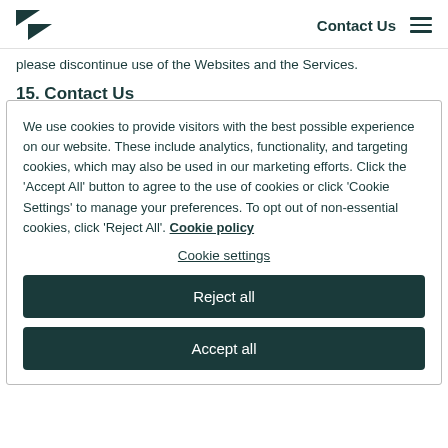Contact Us
please discontinue use of the Websites and the Services.
15. Contact Us
We use cookies to provide visitors with the best possible experience on our website. These include analytics, functionality, and targeting cookies, which may also be used in our marketing efforts. Click the 'Accept All' button to agree to the use of cookies or click 'Cookie Settings' to manage your preferences. To opt out of non-essential cookies, click 'Reject All'. Cookie policy
Cookie settings
Reject all
Accept all